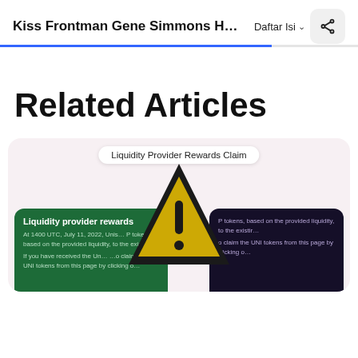Kiss Frontman Gene Simmons Has Inves...
Related Articles
[Figure (screenshot): Related article card showing a 'Liquidity Provider Rewards Claim' warning badge, a large yellow caution triangle with exclamation mark, a green card showing 'Liquidity provider rewards' with text about Uniswap tokens at 1400 UTC July 11 2022, and a dark purple card with text about claiming UNI tokens.]